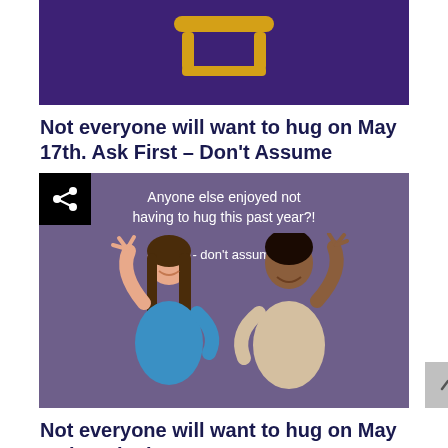[Figure (illustration): Top portion of a purple banner showing a yellow chair illustration on dark purple background]
Not everyone will want to hug on May 17th. Ask First – Don't Assume
[Figure (infographic): Purple illustrated infographic with share icon in top left. Shows two illustrated people waving. Text reads: 'Anyone else enjoyed not having to hug this past year?! Ask - don't assume.']
Not everyone will want to hug on May 17th. Ask First – Don't Assume